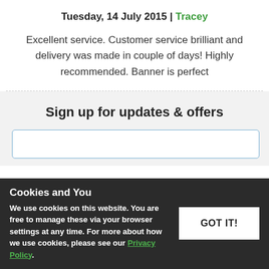Tuesday, 14 July 2015 | Tracey
Excellent service. Customer service brilliant and delivery was made in couple of days! Highly recommended. Banner is perfect
Sign up for updates & offers
Cookies and You
We use cookies on this website. You are free to manage these via your browser settings at any time. For more about how we use cookies, please see our Privacy Policy.